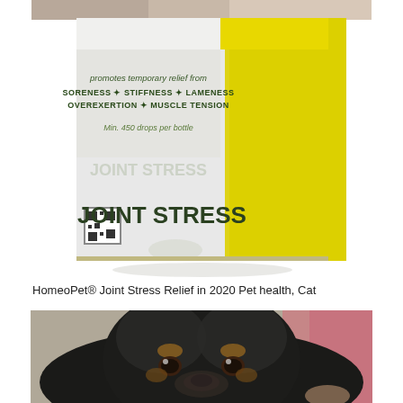[Figure (photo): HomeoPet Joint Stress product box on white background. Box is white and yellow, showing text 'promotes temporary relief from SORENESS * STIFFNESS * LAMENESS OVEREXERTION * MUSCLE TENSION Min. 450 drops per bottle' and large text 'JOINT STRESS' on the front.]
HomeoPet® Joint Stress Relief in 2020 Pet health, Cat
[Figure (photo): Close-up photo of a black and tan puppy with soulful dark eyes, looking directly at the camera. Pink fabric visible in the background.]